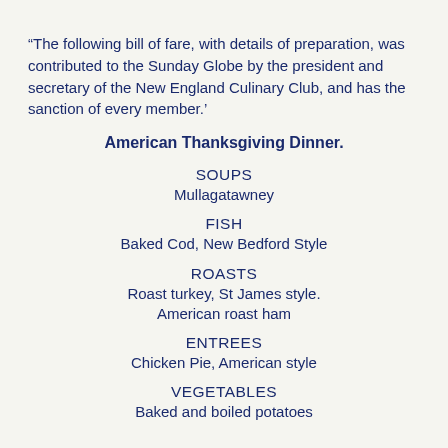“The following bill of fare, with details of preparation, was contributed to the Sunday Globe by the president and secretary of the New England Culinary Club, and has the sanction of every member.’
American Thanksgiving Dinner.
SOUPS
Mullagatawney
FISH
Baked Cod, New Bedford Style
ROASTS
Roast turkey, St James style.
American roast ham
ENTREES
Chicken Pie, American style
VEGETABLES
Baked and boiled potatoes